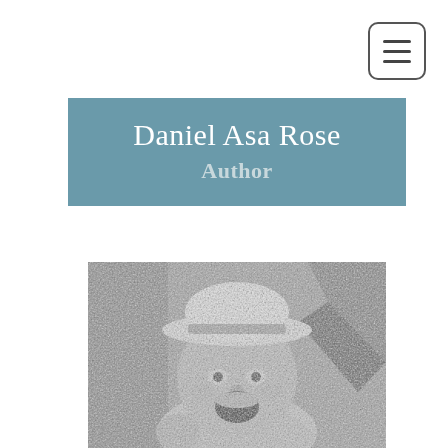[Figure (other): Hamburger/menu icon button with three horizontal lines inside a rounded rectangle border]
Daniel Asa Rose
Author
[Figure (photo): Black and white vintage photograph of a laughing baby wearing a large white hat, with a geometric shape in the background]